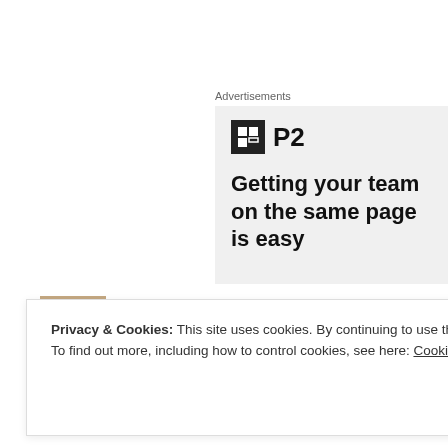Advertisements
[Figure (screenshot): P2 advertisement panel with logo icon and tagline 'Getting your team on the same page is easy']
Kate Crimmins says: October 13, 2020 at 6:12 pm
Privacy & Cookies: This site uses cookies. By continuing to use this website, you agree to their use.
To find out more, including how to control cookies, see here: Cookie Policy
Close and accept